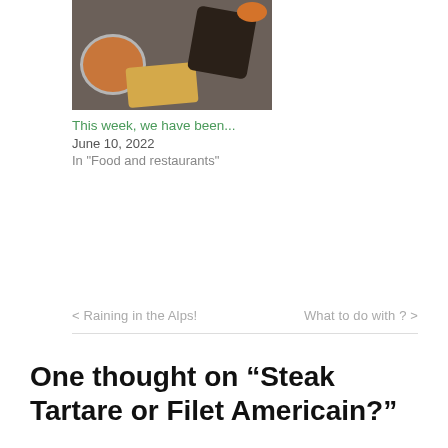[Figure (photo): Food photo showing a plate with baked beans in a round dish, dark meat/black pudding, and a piece of toast/egg on a dark background]
This week, we have been...
June 10, 2022
In "Food and restaurants"
< Raining in the Alps!
What to do with ? >
One thought on “Steak Tartare or Filet Americain?”